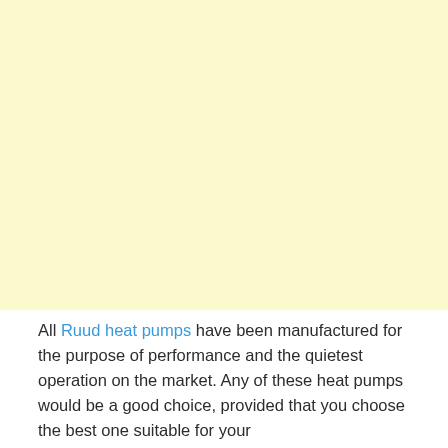[Figure (other): Large pale yellow rectangular image area occupying the top portion of the page.]
All Ruud heat pumps have been manufactured for the purpose of performance and the quietest operation on the market. Any of these heat pumps would be a good choice, provided that you choose the best one suitable for your